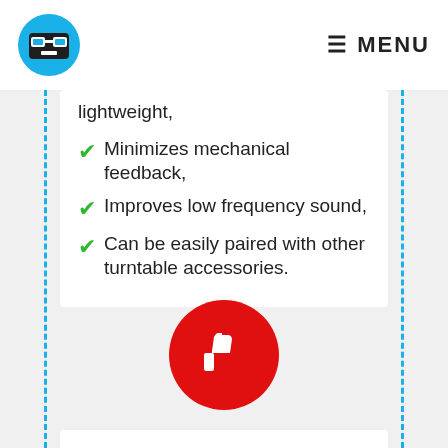MENU
lightweight,
Minimizes mechanical feedback,
Improves low frequency sound,
Can be easily paired with other turntable accessories.
[Figure (illustration): Red circle with white thumbs-down icon, representing Cons section]
Cons